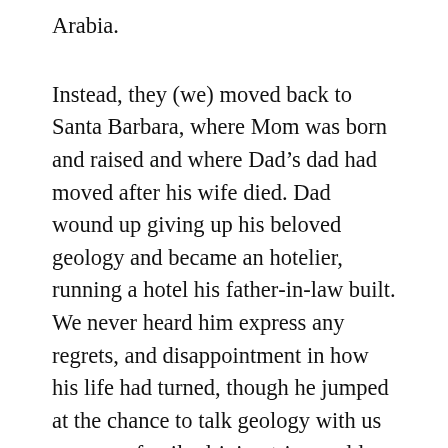Arabia.
Instead, they (we) moved back to Santa Barbara, where Mom was born and raised and where Dad's dad had moved after his wife died. Dad wound up giving up his beloved geology and became an hotelier, running a hotel his father-in-law built. We never heard him express any regrets, and disappointment in how his life had turned, though he jumped at the chance to talk geology with us — every family driving trip would feature lessons along the way: “See how that strata is angled up? That’s from the pressures of the continental plates coming together.” “Out there across the valley, look at how those alluvial fans spread